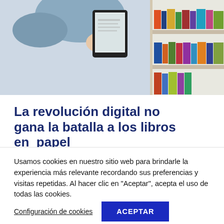[Figure (photo): A person holding a tablet/e-reader up next to a bookshelf filled with colorful books. The hand and arm are visible in the foreground.]
La revolución digital no gana la batalla a los libros en papel
El Centro de Investigaciones Sociológicas publicaba en su último barómetro de septiembre datos llamativos sobre los hábitos de
Usamos cookies en nuestro sitio web para brindarle la experiencia más relevante recordando sus preferencias y visitas repetidas. Al hacer clic en "Aceptar", acepta el uso de todas las cookies.
Configuración de cookies
ACEPTAR